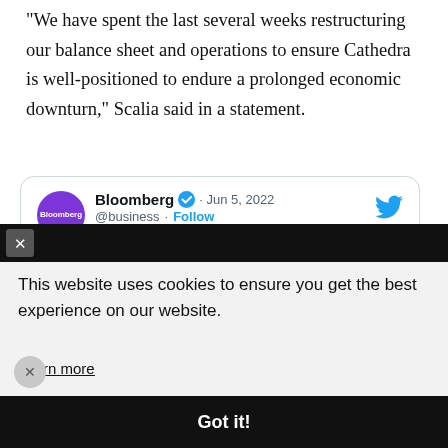“We have spent the last several weeks restructuring our balance sheet and operations to ensure Cathedra is well-positioned to endure a prolonged economic downturn,” Scalia said in a statement.
[Figure (screenshot): Embedded tweet from Bloomberg @business dated Jun 5, 2022: 'Bitcoin miners are beginning to sell tokens they’ve hoarded to cover costs with the prospects for industry growth slowing and prices few signs of rebounding']
This website uses cookies to ensure you get the best experience on our website.
Learn more
Got it!